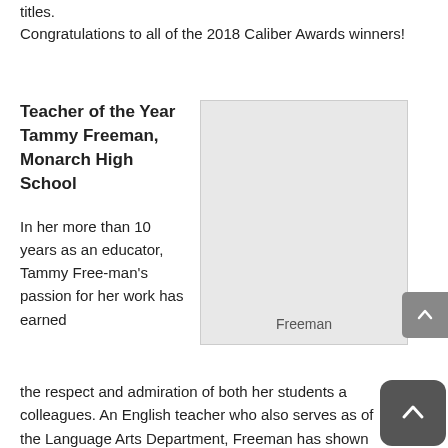titles.
Congratulations to all of the 2018 Caliber Awards winners!
Teacher of the Year Tammy Freeman, Monarch High School
In her more than 10 years as an educator, Tammy Free-man's passion for her work has earned the respect and admiration of both her students and colleagues. An English teacher who also serves as of the Language Arts Department, Freeman has shown outstanding ability as both collaborator and leader. She
[Figure (photo): Photo placeholder of Freeman with caption 'Freeman' at bottom]